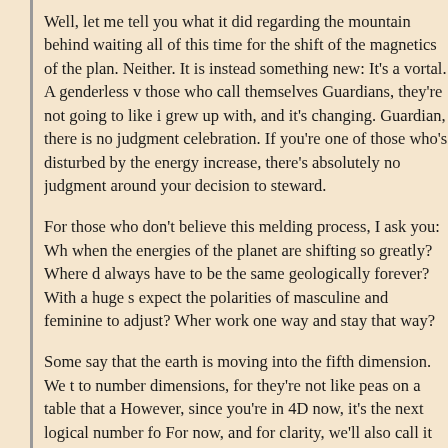Well, let me tell you what it did regarding the mountain behind waiting all of this time for the shift of the magnetics of the plan. Neither. It is instead something new: It's a vortal. A genderless v those who call themselves Guardians, they're not going to like i grew up with, and it's changing. Guardian, there is no judgment celebration. If you're one of those who's disturbed by the energy increase, there's absolutely no judgment around your decision to steward.
For those who don't believe this melding process, I ask you: Wh when the energies of the planet are shifting so greatly? Where d always have to be the same geologically forever? With a huge s expect the polarities of masculine and feminine to adjust? Wher work one way and stay that way?
Some say that the earth is moving into the fifth dimension. We t to number dimensions, for they're not like peas on a table that a However, since you're in 4D now, it's the next logical number fo For now, and for clarity, we'll also call it the fifth dimension... th moving into that represents a big shift in reality.
The prophecy regarding this mountain has spoken about those v fifth-dimensional. What's going on? What's happening to the lar It's esoteric. To some, however, it's eye-rolling. Could there be r